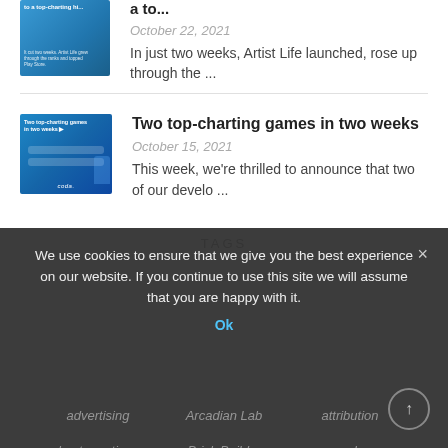[Figure (screenshot): Thumbnail image for first article — blue app screenshot with text overlay]
a to...
October 22, 2021
In just two weeks, Artist Life launched, rose up through the ...
[Figure (screenshot): Thumbnail for second article — blue background with 'Two top-charting games in two weeks' text, coda logo]
Two top-charting games in two weeks
October 15, 2021
This week, we're thrilled to announce that two of our develo ...
TAGS
We use cookies to ensure that we give you the best experience on our website. If you continue to use this site we will assume that you are happy with it.
Ok
advertising
Arcadian Lab
attribution
best practices
Brick Builder
coda
coda insights
coda news